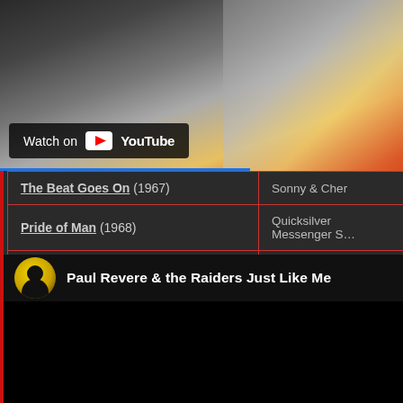[Figure (screenshot): YouTube video thumbnail showing a performer, with 'Watch on YouTube' overlay button at bottom left]
| Song | Artist |
| --- | --- |
| The Beat Goes On (1967) | Sonny & Cher |
| Pride of Man (1968) | Quicksilver Messenger S… |
| Just Like Me (1966) | Paul Revere & the Raide… |
Aaaah, Mark Lindsay. He's not quite a Beefcake, but I may have to start a new series entitled Hunks just to celebrate this gorgeous man.
[Figure (screenshot): YouTube video player showing 'Paul Revere & the Raiders Just Like Me' with channel avatar (woman silhouette on yellow circle) and black video area below]